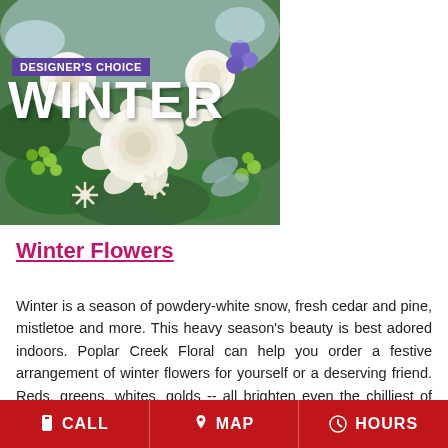[Figure (photo): Photo of a winter floral arrangement featuring white roses, white chrysanthemums, green hypericum berries, and various greenery. Overlaid text reads 'DESIGNER'S CHOICE' in a purple banner and 'WINTER' in large white bold letters.]
Winter Flowers
Winter is a season of powdery-white snow, fresh cedar and pine, mistletoe and more. This heavy season's beauty is best adored indoors. Poplar Creek Floral can help you order a festive arrangement of winter flowers for yourself or a deserving friend. Reds, greens, whites, golds -- all brighten even the chilliest of spaces. Winter parties are so much
CALL  MAP  HOURS